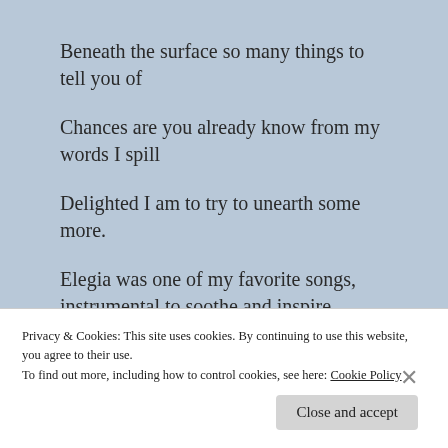Beneath the surface so many things to tell you of
Chances are you already know from my words I spill
Delighted I am to try to unearth some more.
Elegia was one of my favorite songs, instrumental to soothe and inspire
Privacy & Cookies: This site uses cookies. By continuing to use this website, you agree to their use. To find out more, including how to control cookies, see here: Cookie Policy
Close and accept